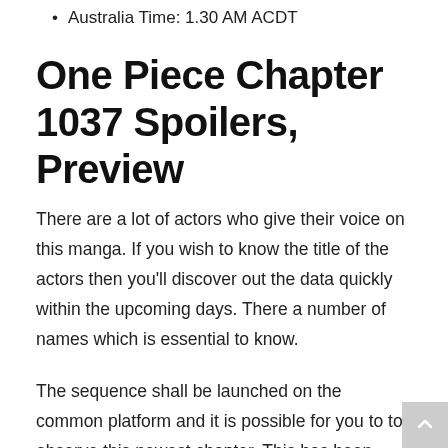Australia Time: 1.30 AM ACDT
One Piece Chapter 1037 Spoilers, Preview
There are a lot of actors who give their voice on this manga. If you wish to know the title of the actors then you'll discover out the data quickly within the upcoming days. There a number of names which is essential to know.
The sequence shall be launched on the common platform and it is possible for you to to observe this newest chapter. This has been confirmed by each Viz Media and Manga Plus, with the 2 platforms offering entry to the hit manga sequence.